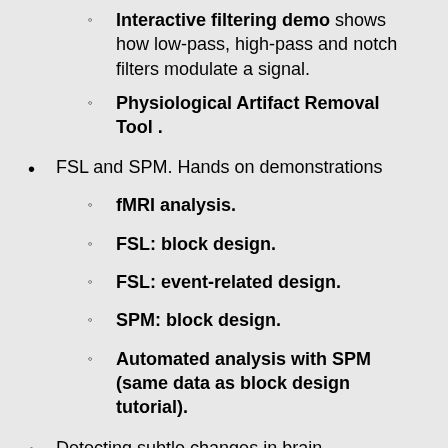Interactive filtering demo shows how low-pass, high-pass and notch filters modulate a signal.
Physiological Artifact Removal Tool .
FSL and SPM. Hands on demonstrations
fMRI analysis.
FSL: block design.
FSL: event-related design.
SPM: block design.
Automated analysis with SPM (same data as block design tutorial).
Detecting subtle changes in brain